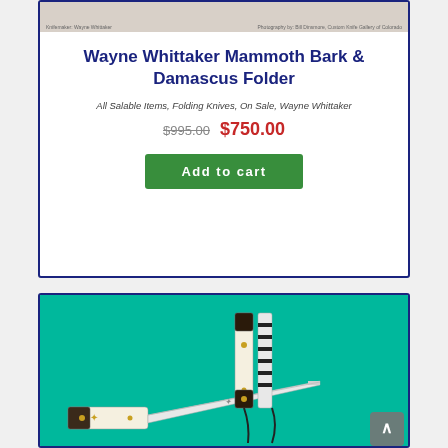[Figure (photo): Top portion of a product card showing a cropped image of a Wayne Whittaker Mammoth Bark & Damascus Folder knife, with photo credits at bottom left and right.]
Wayne Whittaker Mammoth Bark & Damascus Folder
All Salable Items, Folding Knives, On Sale, Wayne Whittaker
$995.00 $750.00
Add to cart
[Figure (photo): Photo of two folding knives with ivory/bone and damascus handles on a teal/green background.]